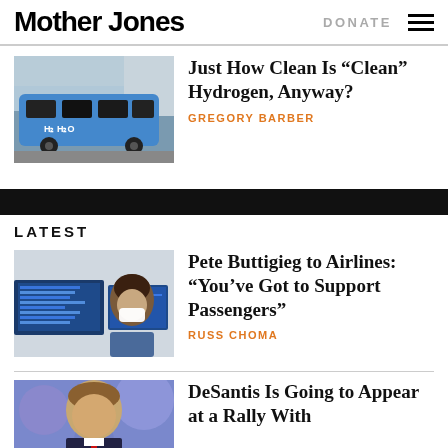Mother Jones | DONATE
[Figure (photo): Blue hydrogen fuel cell bus parked outside a building]
Just How Clean Is “Clean” Hydrogen, Anyway?
GREGORY BARBER
LATEST
[Figure (photo): Person wearing mask looking at airport departure boards]
Pete Buttigieg to Airlines: “You’ve Got to Support Passengers”
RUSS CHOMA
[Figure (photo): DeSantis speaking at an event]
DeSantis Is Going to Appear at a Rally With